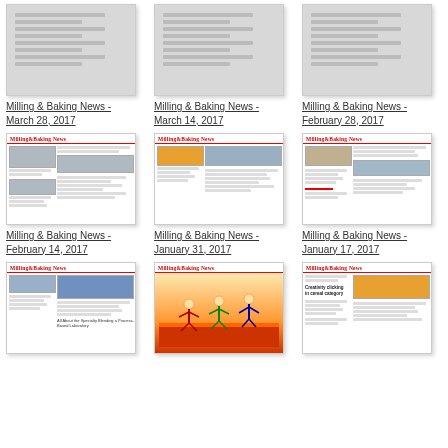[Figure (illustration): Thumbnail of Milling & Baking News issue - March 28, 2017 (gray/faded)]
[Figure (illustration): Thumbnail of Milling & Baking News issue - March 14, 2017 (gray/faded)]
[Figure (illustration): Thumbnail of Milling & Baking News issue - February 28, 2017 (gray/faded)]
Milling & Baking News - March 28, 2017
Milling & Baking News - March 14, 2017
Milling & Baking News - February 28, 2017
[Figure (illustration): Thumbnail of Milling & Baking News issue - February 14, 2017]
[Figure (illustration): Thumbnail of Milling & Baking News issue - January 31, 2017]
[Figure (illustration): Thumbnail of Milling & Baking News issue - January 17, 2017]
Milling & Baking News - February 14, 2017
Milling & Baking News - January 31, 2017
Milling & Baking News - January 17, 2017
[Figure (illustration): Thumbnail of Milling & Baking News issue (partial)]
[Figure (illustration): Thumbnail of Milling & Baking News issue with cartoon (partial)]
[Figure (illustration): Thumbnail of Milling & Baking News issue - Creativity clicking in cereal category (partial)]